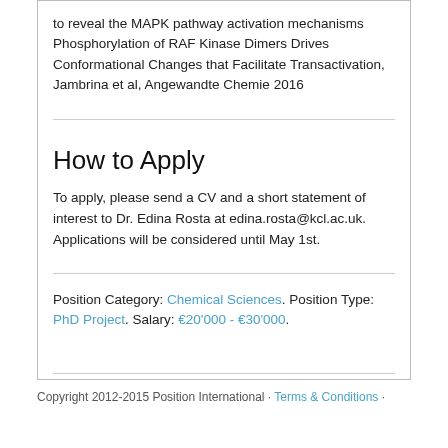to reveal the MAPK pathway activation mechanisms Phosphorylation of RAF Kinase Dimers Drives Conformational Changes that Facilitate Transactivation, Jambrina et al, Angewandte Chemie 2016
How to Apply
To apply, please send a CV and a short statement of interest to Dr. Edina Rosta at edina.rosta@kcl.ac.uk. Applications will be considered until May 1st.
Position Category: Chemical Sciences. Position Type: PhD Project. Salary: €20'000 - €30'000.
Copyright 2012-2015 Position International · Terms & Conditions ·